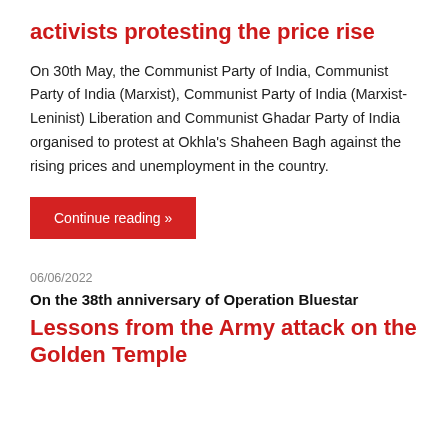activists protesting the price rise
On 30th May, the Communist Party of India, Communist Party of India (Marxist), Communist Party of India (Marxist-Leninist) Liberation and Communist Ghadar Party of India organised to protest at Okhla's Shaheen Bagh against the rising prices and unemployment in the country.
Continue reading »
06/06/2022
On the 38th anniversary of Operation Bluestar
Lessons from the Army attack on the Golden Temple